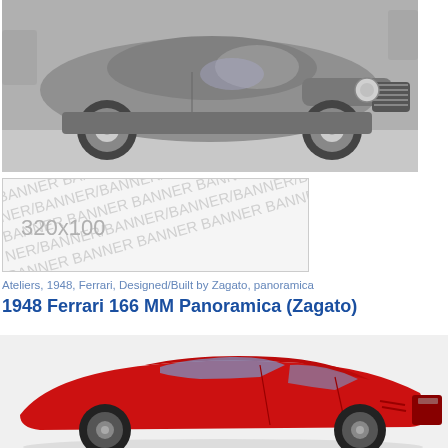[Figure (photo): Black and white photograph of a classic 1948 Ferrari coupe/roadster, silver/grey body, side profile view, parked on concrete]
[Figure (other): Banner placeholder image showing '320x100' size label with repeating BANNER watermark text]
Ateliers, 1948, Ferrari, Designed/Built by Zagato, panoramica
1948 Ferrari 166 MM Panoramica (Zagato)
[Figure (photo): Color photograph of a red 1948 Ferrari 166 MM Panoramica (Zagato) coupe, side profile, showing distinctive fastback roofline]